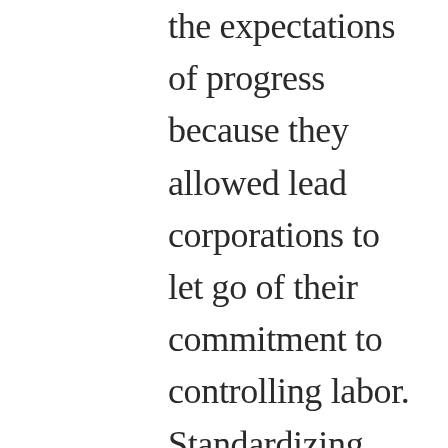the expectations of progress because they allowed lead corporations to let go of their commitment to controlling labor.  Standardizing labor required education and regularized jobs, thus connecting profits and progress.  In supply chains, in contrast, goods gathered from many arrangements can lead to profits for the lead firm; commitments to jobs